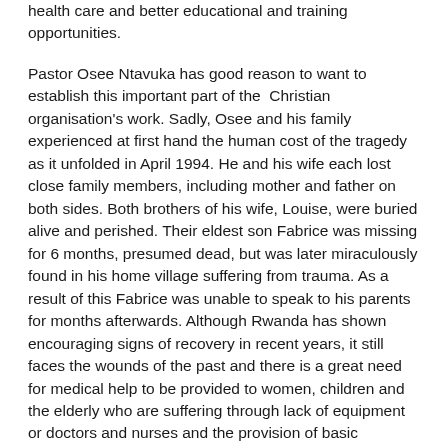health care and better educational and training opportunities.
Pastor Osee Ntavuka has good reason to want to establish this important part of the  Christian organisation's work. Sadly, Osee and his family experienced at first hand the human cost of the tragedy as it unfolded in April 1994. He and his wife each lost close family members, including mother and father on both sides. Both brothers of his wife, Louise, were buried alive and perished. Their eldest son Fabrice was missing for 6 months, presumed dead, but was later miraculously found in his home village suffering from trauma. As a result of this Fabrice was unable to speak to his parents for months afterwards. Although Rwanda has shown encouraging signs of recovery in recent years, it still faces the wounds of the past and there is a great need for medical help to be provided to women, children and the elderly who are suffering through lack of equipment or doctors and nurses and the provision of basic education. Rwanda is a country that has begun to overcome its past and is now optimistically looking forward to a brighter future.